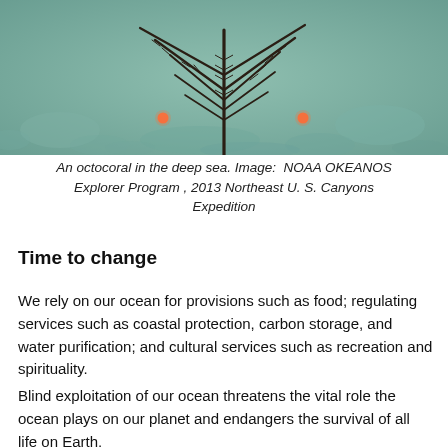[Figure (photo): An octocoral in the deep sea photographed against a greenish seafloor background. The coral has dark, spindly branching arms with spiky protrusions. Two small orange dots are visible in the water.]
An octocoral in the deep sea. Image:  NOAA OKEANOS Explorer Program , 2013 Northeast U. S. Canyons Expedition
Time to change
We rely on our ocean for provisions such as food; regulating services such as coastal protection, carbon storage, and water purification; and cultural services such as recreation and spirituality.
Blind exploitation of our ocean threatens the vital role the ocean plays on our planet and endangers the survival of all life on Earth.